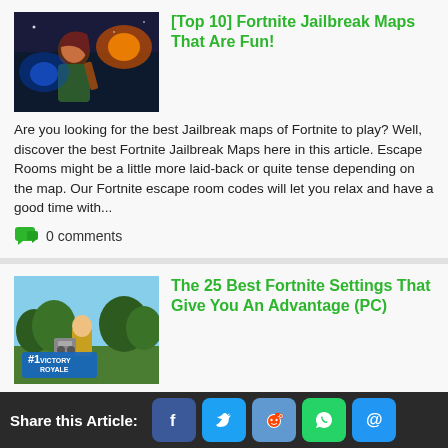[Figure (photo): Fortnite game character - female with brown hair against blue/dark background]
[Top 10] Fortnite Jailbreak Maps That Are Fun!
Are you looking for the best Jailbreak maps of Fortnite to play? Well, discover the best Fortnite Jailbreak Maps here in this article. Escape Rooms might be a little more laid-back or quite tense depending on the map. Our Fortnite escape room codes will let you relax and have a good time with...
0 comments
[Figure (screenshot): Fortnite gameplay screenshot showing Victory Royale screen with #1 badge]
The 25 Best Fortnite Settings That Give You An Advantage (PC)
When playing a Battle Royale like Fortnite, RNG will play a huge factor in your chances of winning. However, there are many ways you can give yourself a competitive advantage, simply by optimizing your settings. This guide includes frame rate boosts, quality of life changes, and keybind...
Share this Article: